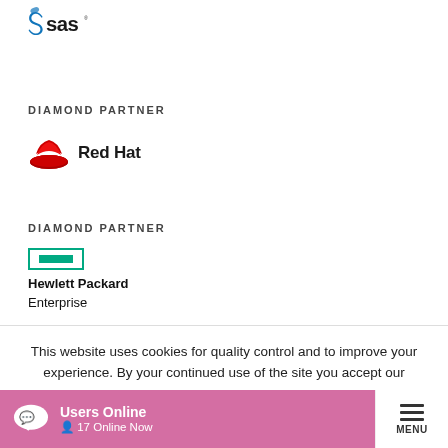[Figure (logo): SAS logo — stylized S icon in blue with 'sas' text in black]
DIAMOND PARTNER
[Figure (logo): Red Hat logo — red fedora hat icon with 'Red Hat' text in black]
DIAMOND PARTNER
[Figure (logo): Hewlett Packard Enterprise logo — teal rectangle box with 'Hewlett Packard Enterprise' text]
This website uses cookies for quality control and to improve your experience. By your continued use of the site you accept our
Users Online  17 Online Now  MENU